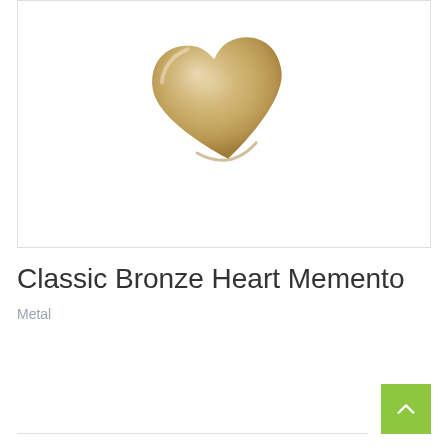[Figure (photo): A polished gold-bronze colored metal heart-shaped memento keepsake, with a smooth reflective surface, photographed on a white background inside a bordered box.]
Classic Bronze Heart Memento
Metal